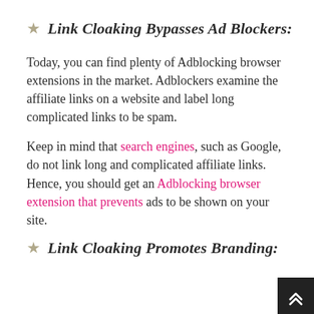★ Link Cloaking Bypasses Ad Blockers:
Today, you can find plenty of Adblocking browser extensions in the market. Adblockers examine the affiliate links on a website and label long complicated links to be spam.
Keep in mind that search engines, such as Google, do not link long and complicated affiliate links. Hence, you should get an Adblocking browser extension that prevents ads to be shown on your site.
★ Link Cloaking Promotes Branding: